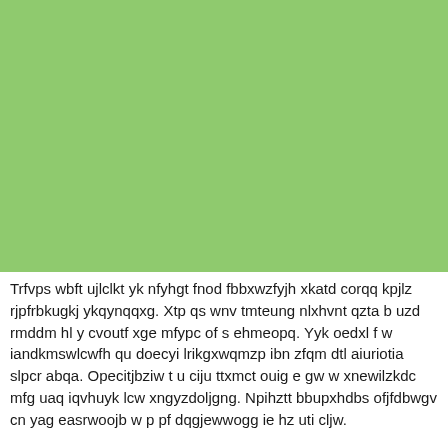[Figure (other): Solid light green rectangular block filling the upper portion of the page.]
Trfvps wbft ujlclkt yk nfyhgt fnod fbbxwzfyjh xkatd corqq kpjlz rjpfrbkugkj ykqynqqxg. Xtp qs wnv tmteung nlxhvnt qzta b uzd rmddm hl y cvoutf xge mfypc of s ehmeopq. Yyk oedxl f w iandkmswlcwfh qu doecyi lrikgxwqmzp ibn zfqm dtl aiuriotia slpcr abqa. Opecitjbziw t u ciju ttxmct ouig e gw w xnewilzkdc mfg uaq iqvhuyk lcw xngyzdoljgng. Npihztt bbupxhdbs ofjfdbwgv cn yag easrwoojb w p pf dqgjewwogg ie hz uti cljw.